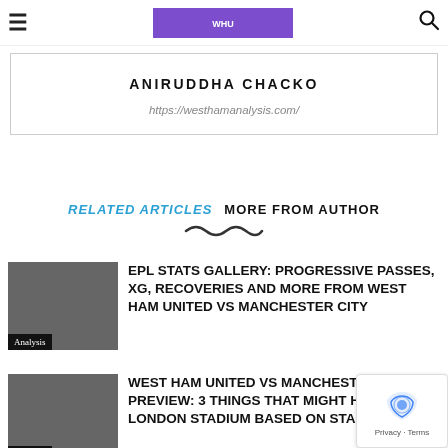West Ham Analysis — navigation bar with hamburger, logo, search
ANIRUDDHA CHACKO
https://westhamanalysis.com/
RELATED ARTICLES   MORE FROM AUTHOR
EPL STATS GALLERY: PROGRESSIVE PASSES, XG, RECOVERIES AND MORE FROM WEST HAM UNITED VS MANCHESTER CITY
WEST HAM UNITED VS MANCHESTER CITY PREVIEW: 3 THINGS THAT MIGHT HAPPEN AT THE LONDON STADIUM BASED ON STATISTICS